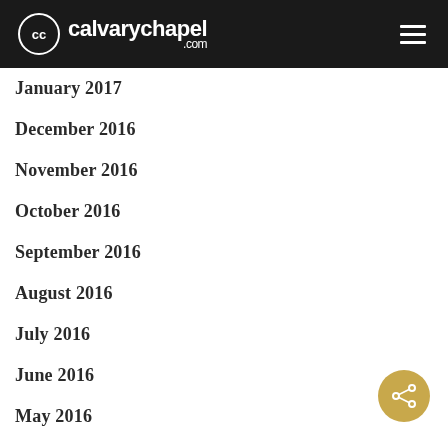calvarychapel.com
January 2017
December 2016
November 2016
October 2016
September 2016
August 2016
July 2016
June 2016
May 2016
April 2016
March 2016
February 2016